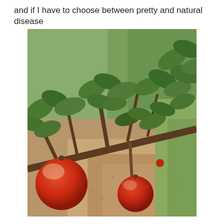and if I have to choose between pretty and natural disease
[Figure (photo): Photograph of apple tree branches with red apples hanging low, rows of apple trees in an orchard with sandy/dirt ground between them, green leaves visible throughout, taken from a low angle looking down the row.]